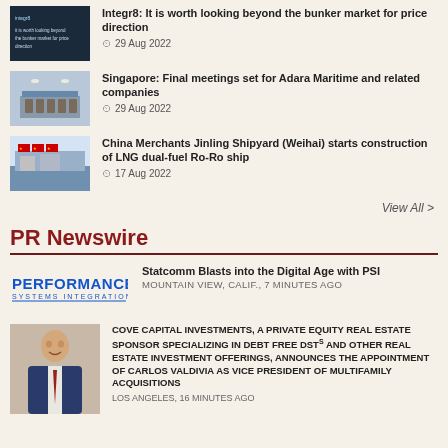[Figure (photo): Thumbnail image for Integr8 article - dark background with text]
Integr8: It is worth looking beyond the bunker market for price direction
29 Aug 2022
[Figure (photo): Thumbnail image for Singapore article - conference room with chairs]
Singapore: Final meetings set for Adara Maritime and related companies
29 Aug 2022
[Figure (photo): Thumbnail image for China Merchants article - shipyard with flags]
China Merchants Jinling Shipyard (Weihai) starts construction of LNG dual-fuel Ro-Ro ship
17 Aug 2022
View All >
PR Newswire
[Figure (logo): PERFORMANCE SYSTEMS INTEGRATION logo]
Statcomm Blasts into the Digital Age with PSI
MOUNTAIN VIEW, Calif., 7 minutes ago
[Figure (photo): Photo of Carlos Valdivia, man in suit with red tie]
COVE CAPITAL INVESTMENTS, A PRIVATE EQUITY REAL ESTATE SPONSOR SPECIALIZING IN DEBT FREE DSTs AND OTHER REAL ESTATE INVESTMENT OFFERINGS, ANNOUNCES THE APPOINTMENT OF CARLOS VALDIVIA AS VICE PRESIDENT OF MULTIFAMILY ACQUISITIONS
LOS ANGELES, 16 minutes ago